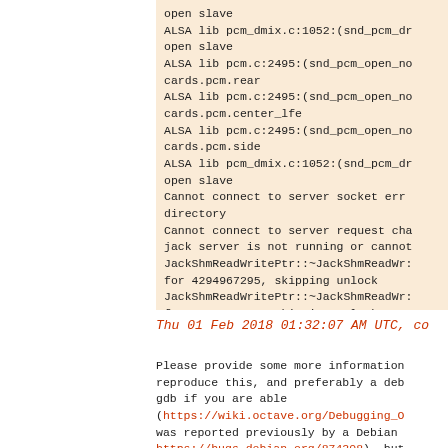open slave
ALSA lib pcm_dmix.c:1052:(snd_pcm_dr
open slave
ALSA lib pcm.c:2495:(snd_pcm_open_no
cards.pcm.rear
ALSA lib pcm.c:2495:(snd_pcm_open_no
cards.pcm.center_lfe
ALSA lib pcm.c:2495:(snd_pcm_open_no
cards.pcm.side
ALSA lib pcm_dmix.c:1052:(snd_pcm_dr
open slave
Cannot connect to server socket err
directory
Cannot connect to server request ch
jack server is not running or cannot
JackShmReadWritePtr::~JackShmReadWr:
for 4294967295, skipping unlock
JackShmReadWritePtr::~JackShmReadWr:
for 4294967295, skipping unlock
Thu 01 Feb 2018 01:32:07 AM UTC, co
Please provide some more information
reproduce this, and preferably a deb
gdb if you are able
(https://wiki.octave.org/Debugging_O
was reported previously by a Debian
https://bugs.debian.org/874208), but
reproduce the crash with either jack